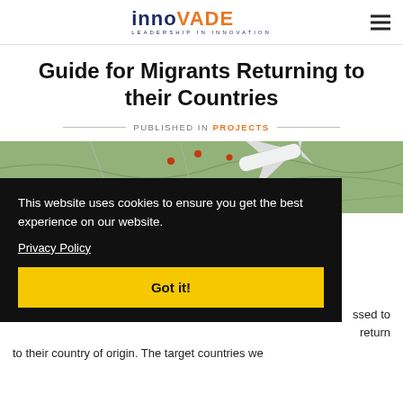innoVADE LEADERSHIP IN INNOVATION
Guide for Migrants Returning to their Countries
PUBLISHED IN PROJECTS
[Figure (photo): Aerial view of a map with an airplane, showing routes and geographical features]
This website uses cookies to ensure you get the best experience on our website. Privacy Policy Got it!
...ssed to return to their country of origin. The target countries we...